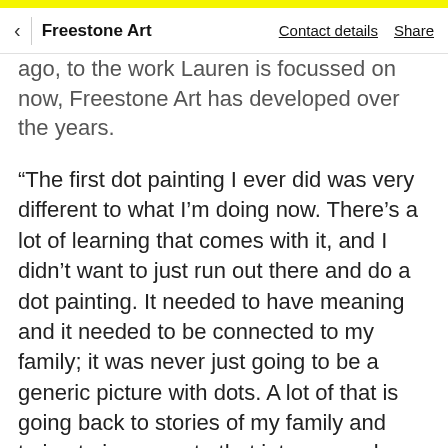< Freestone Art   Contact details   Share
ago, to the work Lauren is focussed on now, Freestone Art has developed over the years.
“The first dot painting I ever did was very different to what I’m doing now. There’s a lot of learning that comes with it, and I didn’t want to just run out there and do a dot painting. It needed to have meaning and it needed to be connected to my family; it was never just going to be a generic picture with dots. A lot of that is going back to stories of my family and trying to incorporate that into my work. The running, travelling lines sort of came from my Great Great Grandfather being the tracker. A lot of the stories I heard about him really inspires me to put that into my painting.”